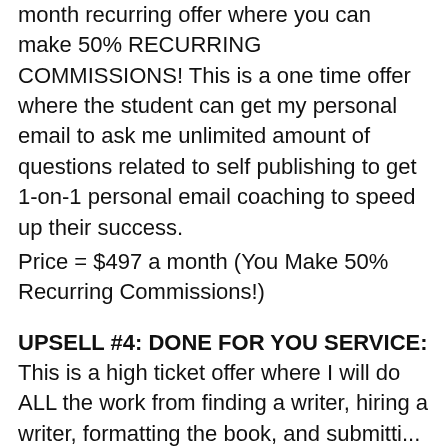month recurring offer where you can make 50% RECURRING COMMISSIONS! This is a one time offer where the student can get my personal email to ask me unlimited amount of questions related to self publishing to get 1-on-1 personal email coaching to speed up their success.
Price = $497 a month (You Make 50% Recurring Commissions!)
UPSELL #4: DONE FOR YOU SERVICE: This is a high ticket offer where I will do ALL the work from finding a writer, hiring a writer, formatting the book, and submitting...